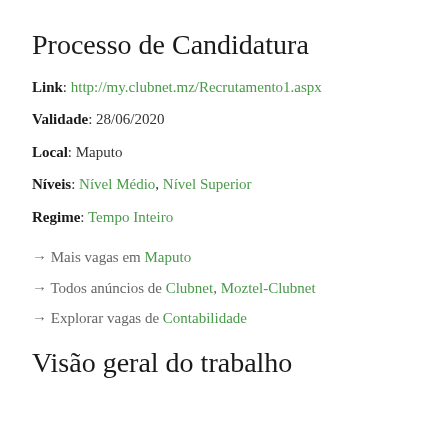Processo de Candidatura
Link: http://my.clubnet.mz/Recrutamento1.aspx
Validade: 28/06/2020
Local: Maputo
Níveis: Nível Médio, Nível Superior
Regime: Tempo Inteiro
→ Mais vagas em Maputo
→ Todos anúncios de Clubnet, Moztel-Clubnet
→ Explorar vagas de Contabilidade
Visão geral do trabalho